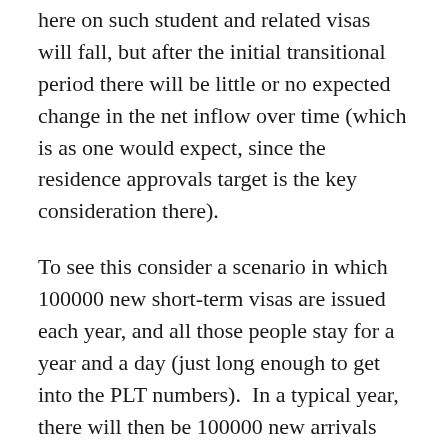here on such student and related visas will fall, but after the initial transitional period there will be little or no expected change in the net inflow over time (which is as one would expect, since the residence approvals target is the key consideration there).
To see this consider a scenario in which 100000 new short-term visas are issued each year, and all those people stay for a year and a day (just long enough to get into the PLT numbers).  In a typical year, there will then be 100000 new arrivals and 100000 departures.
Now change the rules so that in future only 75000 short-term visas are issued each year.  In the first year there will be 75000 arrivals and